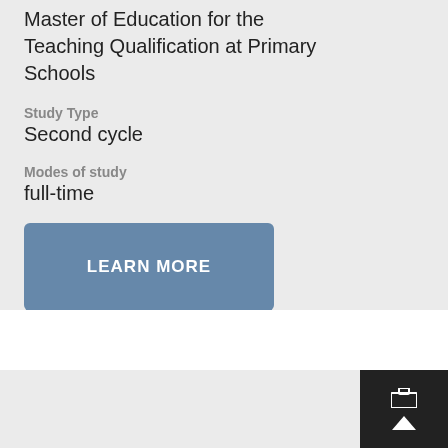Master of Education for the Teaching Qualification at Primary Schools
Study Type
Second cycle
Modes of study
full-time
LEARN MORE
[Figure (other): Back to top button with upward arrow icon on dark background, bottom-right corner]